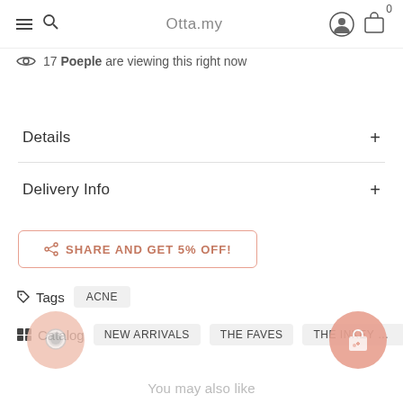Otta.my
17 Poeple are viewing this right now
Details +
Delivery Info +
SHARE AND GET 5% OFF!
Tags ACNE
Catalog NEW ARRIVALS  THE FAVES  THE INKEY LIST